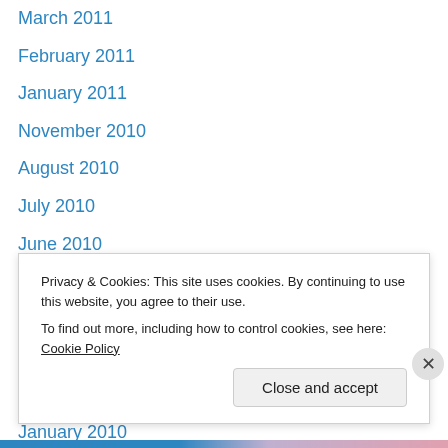March 2011
February 2011
January 2011
November 2010
August 2010
July 2010
June 2010
May 2010
April 2010
March 2010
February 2010
January 2010
December 2009
November 2009
Privacy & Cookies: This site uses cookies. By continuing to use this website, you agree to their use. To find out more, including how to control cookies, see here: Cookie Policy